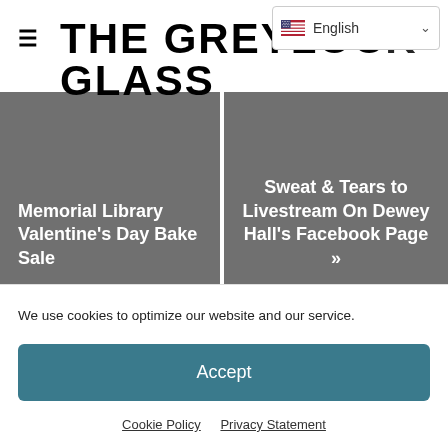THE GREYLOCK GLASS
Memorial Library Valentine's Day Bake Sale
Sweat & Tears to Livestream On Dewey Hall's Facebook Page »
We use cookies to optimize our website and our service.
Accept
Cookie Policy  Privacy Statement